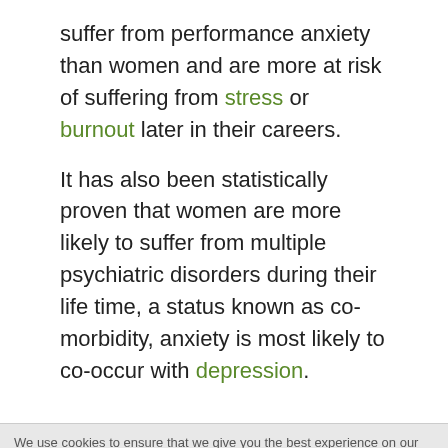suffer from performance anxiety than women and are more at risk of suffering from stress or burnout later in their careers.
It has also been statistically proven that women are more likely to suffer from multiple psychiatric disorders during their life time, a status known as co-morbidity, anxiety is most likely to co-occur with depression.
We use cookies to ensure that we give you the best experience on our website. If you continue to use this site we will assume that...
2017 StressManagement.co.uk Part of Sitefinders Net Ltd · All Rights Reserved
Stress Depression ADHD Anxiety PTSD Chronic illnesses
About Contact Disclaimer Advertise